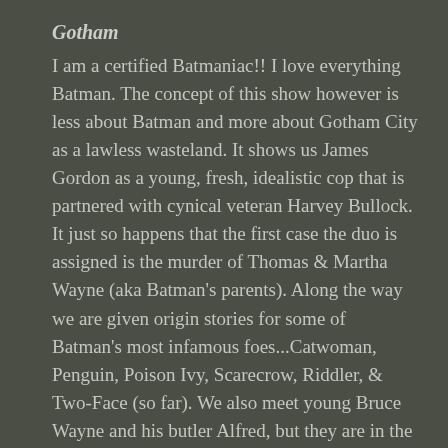Gotham
I am a certified Batmaniac!! I love everything Batman. The concept of this show however is less about Batman and more about Gotham City as a lawless wasteland. It shows us James Gordon as a young, fresh, idealistic cop that is partnered with cynical veteran Harvey Bullock. It just so happens that the first case the duo is assigned is the murder of Thomas & Martha Wayne (aka Batman's parents). Along the way we are given origin stories for some of Batman's most infamous foes...Catwoman, Penguin, Poison Ivy, Scarecrow, Riddler, & Two-Face (so far). We also meet young Bruce Wayne and his butler Alfred, but they are in the background. In some ways Gotham is not unlike your typical police procedural...Law & Order, CSI, NCIS, etc...but with the framework of the Batman mythology, solid performances, & fantastic writing it stands out from the crowd. It is a bit too violent at times for